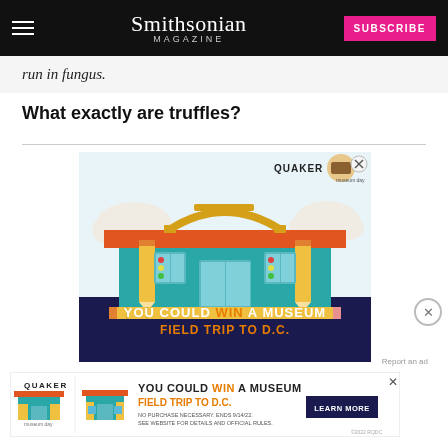Smithsonian MAGAZINE
run in fungus.
What exactly are truffles?
[Figure (illustration): Quaker Museum Day advertisement showing a cartoon school building with pencils as pillars, rulers as roof decoration, clouds in background. Text reads: YOU COULD WIN A MUSEUM FIELD TRIP TO D.C.]
[Figure (illustration): Quaker Museum Day small banner advertisement. Text: YOU COULD WIN A MUSEUM FIELD TRIP TO D.C. NO PURCHASE NECESSARY. ENDS 9/14/22. SEE WEBSITE FOR DETAILS AND OFFICIAL RULES. LEARN MORE button. ©2022 RQDC.]